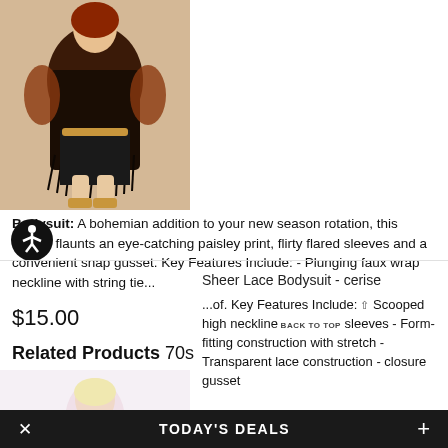[Figure (photo): Plus-size model wearing a bohemian paisley print bodysuit with faux fur vest and strappy sandals, brown/orange tones]
Bodysuit: A bohemian addition to your new season rotation, this design flaunts an eye-catching paisley print, flirty flared sleeves and a convenient snap gusset. Key Features Include: - Plunging faux wrap neckline with string tie...
$15.00
Related Products 70s
[Figure (illustration): Accessibility icon — circular black badge with wheelchair-accessible person symbol in white]
[Figure (photo): Plus-size model wearing a sheer lace bodysuit in cerise/pink, off-shoulder with long sleeves]
Sheer Lace Bodysuit - cerise
...of. Key Features Include: Scooped high neckline BACK TO TOP sleeves - Form-fitting construction with stretch - Transparent lace construction - closure gusset
× TODAY'S DEALS +